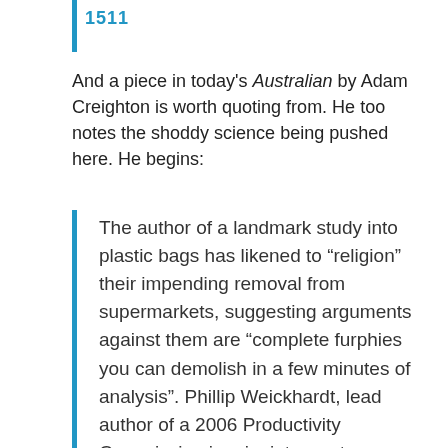1511
And a piece in today's Australian by Adam Creighton is worth quoting from. He too notes the shoddy science being pushed here. He begins:
The author of a landmark study into plastic bags has likened to “religion” their impending removal from supermarkets, suggesting arguments against them are “complete furphies you can demolish in a few minutes of analysis”. Phillip Weickhardt, lead author of a 2006 Productivity Commission inquiry into waste management, said raising fines for littering made more sense. “This is largely